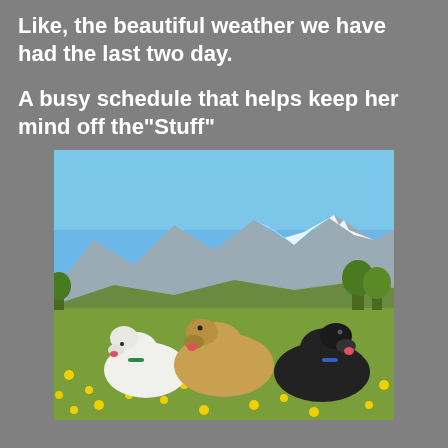Like, the beautiful weather we have had the last two day.
A busy schedule that helps keep her mind off the"Stuff"
[Figure (photo): Three dogs lying in a field of yellow dandelions with snow-capped mountains and blue sky in the background. Left: white poodle, center: golden retriever, right: black dog.]